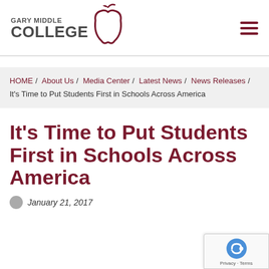[Figure (logo): Gary Middle College logo with apple graphic and text 'GARY MIDDLE COLLEGE']
HOME / About Us / Media Center / Latest News / News Releases / It's Time to Put Students First in Schools Across America
It's Time to Put Students First in Schools Across America
January 21, 2017